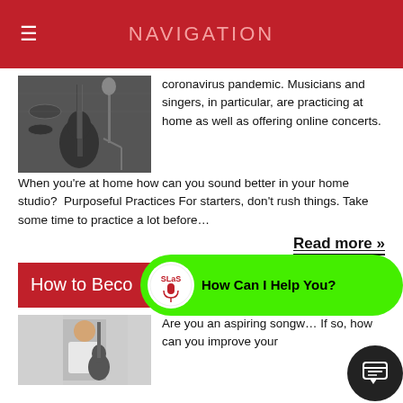NAVIGATION
[Figure (photo): Black and white photo of a home music studio with guitars and microphones]
coronavirus pandemic. Musicians and singers, in particular, are practicing at home as well as offering online concerts. When you're at home how can you sound better in your home studio?  Purposeful Practices For starters, don't rush things. Take some time to practice a lot before…
Read more »
How to Beco…
[Figure (logo): SLaS logo with microphone icon and How Can I Help You? chat bubble]
[Figure (photo): Photo of person playing acoustic guitar]
Are you an aspiring songw… If so, how can you improve your